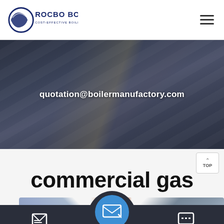[Figure (logo): Rocbo Boiler logo with circular wave graphic and text 'ROCBO BOILER - COST-EFFECTIVE BOILER SUPPLIER']
[Figure (photo): Dark industrial background hero image with boiler/pipe equipment]
quotation@boilermanufactory.com
commercial gas
[Figure (photo): Industrial boiler room with orange pipe visible]
Send Message
[Figure (illustration): Envelope/email send icon in blue circle]
Inquiry Online